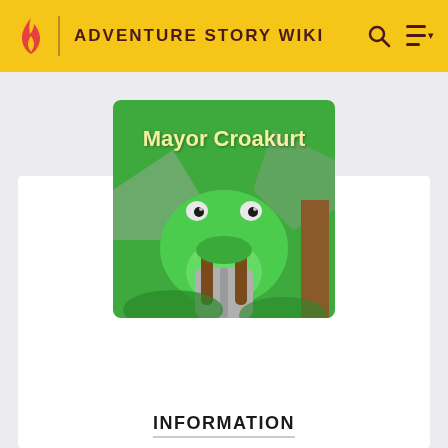ADVENTURE STORY WIKI
[Figure (illustration): Mayor Croakurt — a green frog character wearing a brown backpack, shown from chest up against a green background with grey triangle shapes. The name 'Mayor Croakurt' is displayed in yellow text at the top of the image.]
INFORMATION